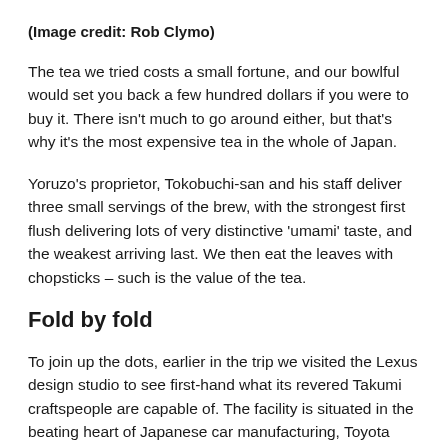(Image credit: Rob Clymo)
The tea we tried costs a small fortune, and our bowlful would set you back a few hundred dollars if you were to buy it. There isn't much to go around either, but that's why it's the most expensive tea in the whole of Japan.
Yoruzo's proprietor, Tokobuchi-san and his staff deliver three small servings of the brew, with the strongest first flush delivering lots of very distinctive 'umami' taste, and the weakest arriving last. We then eat the leaves with chopsticks – such is the value of the tea.
Fold by fold
To join up the dots, earlier in the trip we visited the Lexus design studio to see first-hand what its revered Takumi craftspeople are capable of. The facility is situated in the beating heart of Japanese car manufacturing, Toyota City located in Japan's Aichi